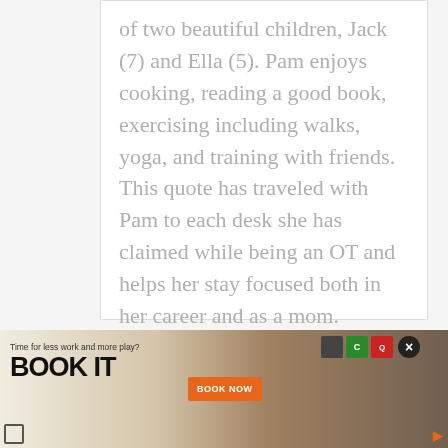of two beautiful children, Jack (7) and Ella (5). Pam enjoys cooking, reading a good book, exercising including walks, yoga, and training with friends. This quote has traveled with Pam to each desk she has claimed while being an OT and helps her stay focused both in her career and as a mom.
[Figure (infographic): Social share bar with Twitter, Facebook, LinkedIn, Pinterest buttons (olive/yellow-green color) and a share count showing 437 SHARES]
[Figure (infographic): Advertisement banner: 'Time for less work and more play? BOOK IT' with orange BOOK NOW button, hotel logos, close button, and a photo of a person relaxing]